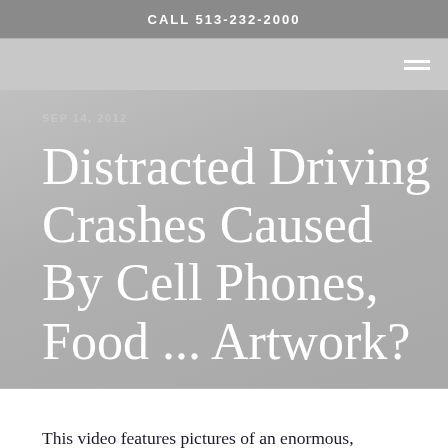CALL 513-232-2000
SEP 14, 2012
Distracted Driving Crashes Caused By Cell Phones, Food ... Artwork?
This video features pictures of an enormous, colorful mural in Columbus, Ohio. On September 4, 2012, the Columbus Dispatch reported that some drivers were blaming the 300-foot murals going up on both sides of